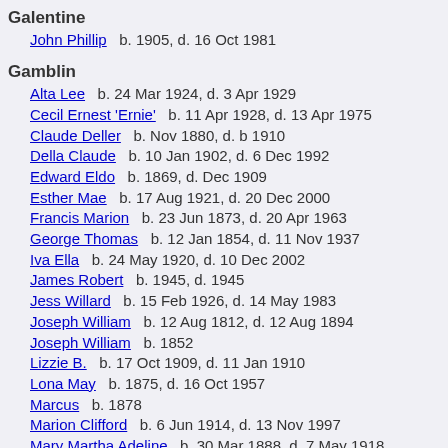Galentine
John Phillip   b. 1905, d. 16 Oct 1981
Gamblin
Alta Lee   b. 24 Mar 1924, d. 3 Apr 1929
Cecil Ernest 'Ernie'   b. 11 Apr 1928, d. 13 Apr 1975
Claude Deller   b. Nov 1880, d. b 1910
Della Claude   b. 10 Jan 1902, d. 6 Dec 1992
Edward Eldo   b. 1869, d. Dec 1909
Esther Mae   b. 17 Aug 1921, d. 20 Dec 2000
Francis Marion   b. 23 Jun 1873, d. 20 Apr 1963
George Thomas   b. 12 Jan 1854, d. 11 Nov 1937
Iva Ella   b. 24 May 1920, d. 10 Dec 2002
James Robert   b. 1945, d. 1945
Jess Willard   b. 15 Feb 1926, d. 14 May 1983
Joseph William   b. 12 Aug 1812, d. 12 Aug 1894
Joseph William   b. 1852
Lizzie B.   b. 17 Oct 1909, d. 11 Jan 1910
Lona May   b. 1875, d. 16 Oct 1957
Marcus   b. 1878
Marion Clifford   b. 6 Jun 1914, d. 13 Nov 1997
Mary Martha Adeline   b. 30 Mar 1888, d. 7 May 1918
Minnie Maudie   b. 3 Dec 1902, d. 21 Mar 1984
Nancy Jane   b. 1841, d. 1893
Oscar   b. May 1885, d. 1898